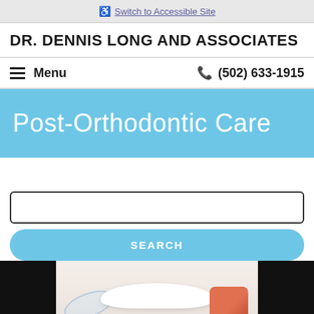Switch to Accessible Site
DR. DENNIS LONG AND ASSOCIATES
Menu  (502) 633-1915
Post-Orthodontic Care
[Figure (photo): Dental patient smiling holding clear retainer on left side and dental model/retainer on right side, with black panels on edges]
SEARCH